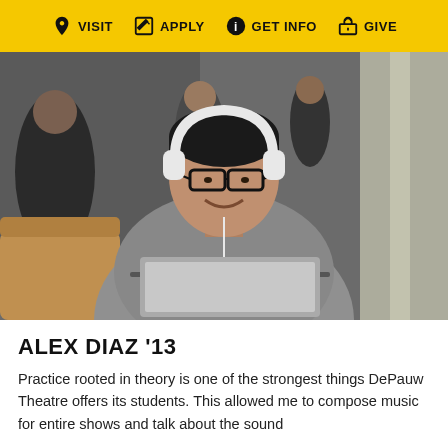VISIT  APPLY  GET INFO  GIVE
[Figure (photo): Young man with glasses and white headphones smiling at camera, sitting with a laptop in a common area with other people in the background]
ALEX DIAZ '13
Practice rooted in theory is one of the strongest things DePauw Theatre offers its students. This allowed me to compose music for entire shows and talk about the sound